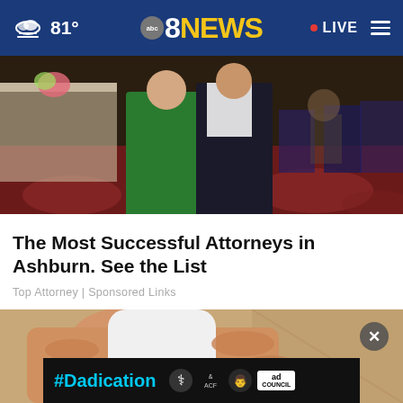81° abc8NEWS · LIVE
[Figure (photo): Two people standing in a banquet hall, one wearing a green dress and the other a dark suit with white shirt, patterned carpet visible]
The Most Successful Attorneys in Ashburn. See the List
Top Attorney | Sponsored Links
[Figure (photo): Close-up of a hand holding a white bottle or container, with a #Dadication ad banner overlay featuring HHS, ACF, and Ad Council logos]